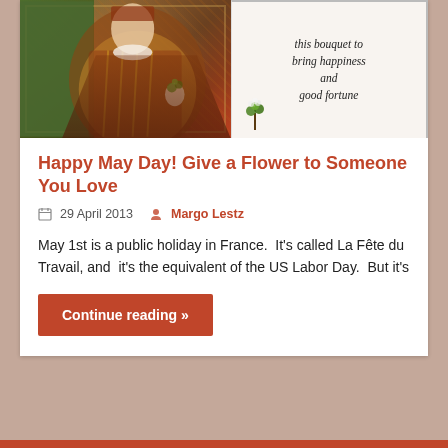[Figure (photo): Top portion of blog post card showing a painting of a historical woman in ornate dress on the left half, and on the right half a white card with italic text reading 'this bouquet to bring happiness and good fortune' with a small green bouquet illustration]
Happy May Day! Give a Flower to Someone You Love
29 April 2013   Margo Lestz
May 1st is a public holiday in France.  It's called La Fête du Travail, and  it's the equivalent of the US Labor Day.  But it's
Continue reading »